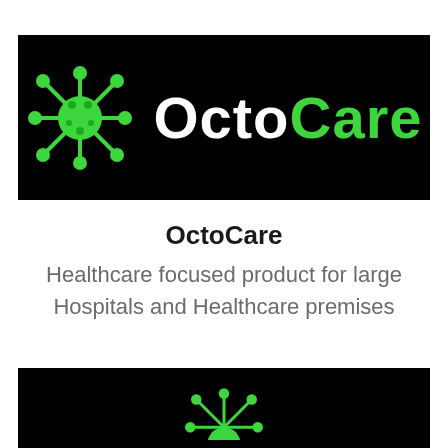[Figure (logo): OctoCare logo on black background — green virus/molecule icon on the left, white 'Octo' and green 'Care' text on the right]
OctoCare
Healthcare focused product for large Hospitals and Healthcare premises
[Figure (logo): Partial OctoCare logo on black background — bottom of page, green molecule/virus icon partially visible]